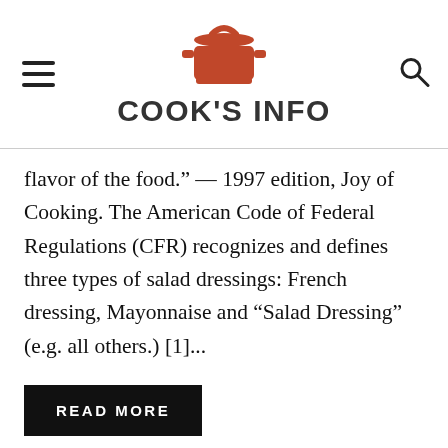COOK'S INFO
flavor of the food." — 1997 edition, Joy of Cooking. The American Code of Federal Regulations (CFR) recognizes and defines three types of salad dressings: French dressing, Mayonnaise and “Salad Dressing” (e.g. all others.) [1]...
READ MORE